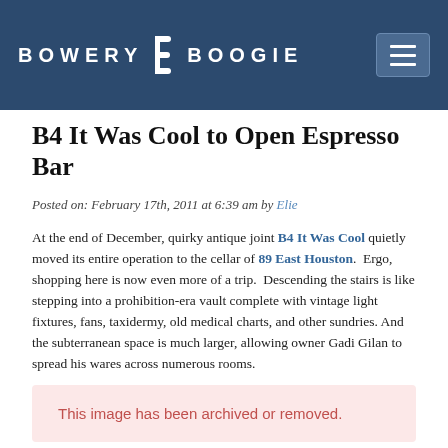BOWERY BOOGIE
B4 It Was Cool to Open Espresso Bar
Posted on: February 17th, 2011 at 6:39 am by Elie
At the end of December, quirky antique joint B4 It Was Cool quietly moved its entire operation to the cellar of 89 East Houston.  Ergo, shopping here is now even more of a trip.  Descending the stairs is like stepping into a prohibition-era vault complete with vintage light fixtures, fans, taxidermy, old medical charts, and other sundries.  And the subterranean space is much larger, allowing owner Gadi Gilan to spread his wares across numerous rooms.
[Figure (other): This image has been archived or removed.]
But the decision to move fully underground after more than two decades was actually prompted by loftier ambitions. Indeed, Gilan plans to convert the existing storefront space into an early-American themed coffee/espresso bar. There won't be any table or